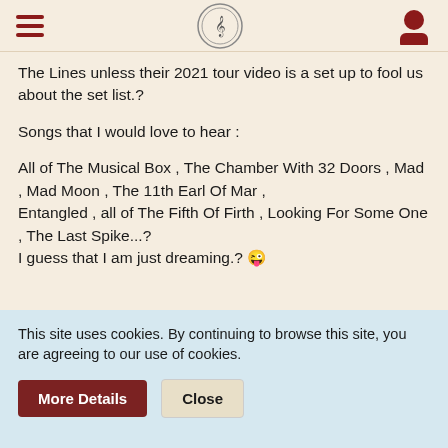Navigation header with hamburger menu, site logo, and user icon
The Lines unless their 2021 tour video is a set up to fool us about the set list.?
Songs that I would love to hear :
All of The Musical Box , The Chamber With 32 Doors , Mad , Mad Moon , The 11th Earl Of Mar , Entangled , all of The Fifth Of Firth , Looking For Some One , The Last Spike...?
I guess that I am just dreaming.? 😜
thewatcher — Giant Hogweed
This site uses cookies. By continuing to browse this site, you are agreeing to our use of cookies.